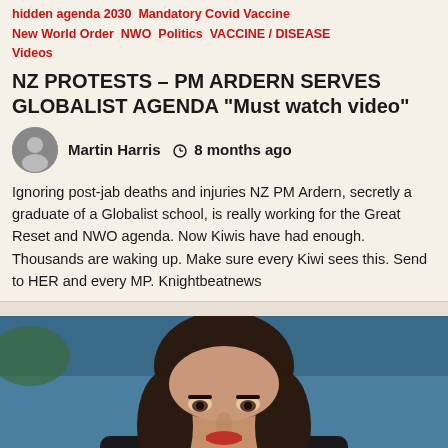hidden agenda 2030  Mandatory Covid Vaccine
New World Order  NWO  Politics  VACCINE / DISEASE
Videos
NZ PROTESTS – PM ARDERN SERVES GLOBALIST AGENDA "Must watch video"
Martin Harris   8 months ago
Ignoring post-jab deaths and injuries NZ PM Ardern, secretly a graduate of a Globalist school, is really working for the Great Reset and NWO agenda. Now Kiwis have had enough. Thousands are waking up. Make sure every Kiwi sees this. Send to HER and every MP. Knightbeatnews
[Figure (photo): Close-up photo of a woman with long dark hair, looking serious or concerned, against a blue background. Appears to be NZ PM Jacinda Ardern.]